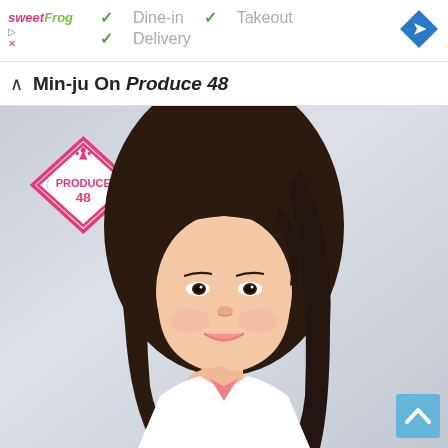[Figure (logo): sweetFrog logo in top left of page header banner]
✓ Dine-in  ✓ Takeout  ✓ Delivery
[Figure (other): Blue diamond-shaped navigation/direction button in top right corner]
Min-ju On Produce 48
[Figure (photo): Photo of young woman (Min-ju) from the Produce 48 show, with long dark hair, smiling, wearing white shirt with pink collar, hand near chin. Produce 48 diamond logo in top-left of image.]
[Figure (other): Blue scroll-to-top button in bottom right corner with upward chevron]